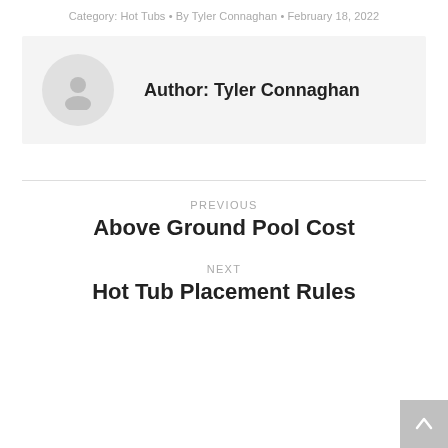Category: Hot Tubs • By Tyler Connaghan • February 18, 2022
[Figure (illustration): Author bio box with circular avatar placeholder icon and author name 'Author: Tyler Connaghan']
PREVIOUS
Above Ground Pool Cost
NEXT
Hot Tub Placement Rules